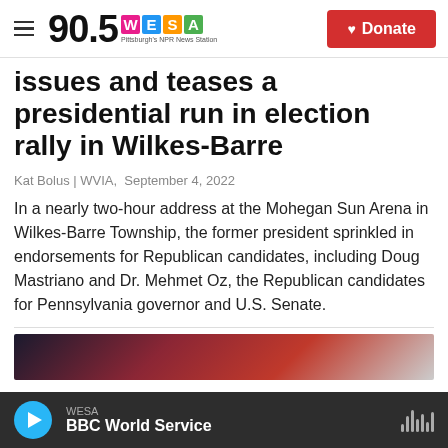90.5 WESA — Pittsburgh's NPR News Station | Donate
issues and teases a presidential run in election rally in Wilkes-Barre
Kat Bolus | WVIA,  September 4, 2022
In a nearly two-hour address at the Mohegan Sun Arena in Wilkes-Barre Township, the former president sprinkled in endorsements for Republican candidates, including Doug Mastriano and Dr. Mehmet Oz, the Republican candidates for Pennsylvania governor and U.S. Senate.
[Figure (photo): Partial photo of an American flag or rally scene, partially visible at bottom of page]
WESA — BBC World Service (audio player bar)